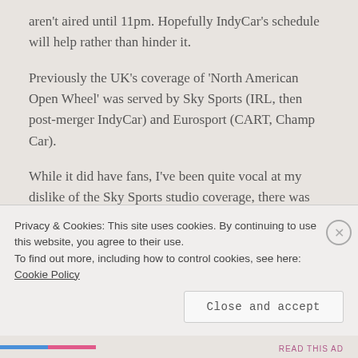aren't aired until 11pm. Hopefully IndyCar's schedule will help rather than hinder it.
Previously the UK's coverage of 'North American Open Wheel' was served by Sky Sports (IRL, then post-merger IndyCar) and Eurosport (CART, Champ Car).
While it did have fans, I've been quite vocal at my dislike of the Sky Sports studio coverage, there was good discussion at times but I often felt it was very...
Privacy & Cookies: This site uses cookies. By continuing to use this website, you agree to their use.
To find out more, including how to control cookies, see here: Cookie Policy
Close and accept